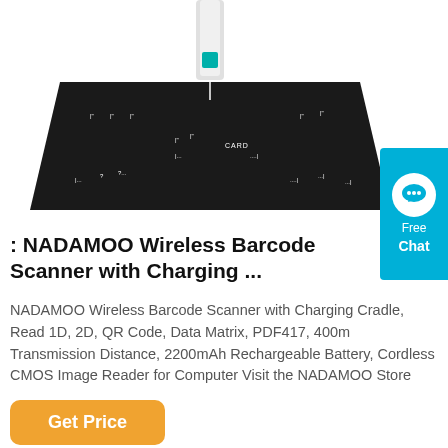[Figure (photo): NADAMOO Wireless Barcode Scanner with Charging Cradle product photo showing the scanner base/cradle in black with measurement markings]
: NADAMOO Wireless Barcode Scanner with Charging ...
NADAMOO Wireless Barcode Scanner with Charging Cradle, Read 1D, 2D, QR Code, Data Matrix, PDF417, 400m Transmission Distance, 2200mAh Rechargeable Battery, Cordless CMOS Image Reader for Computer Visit the NADAMOO Store
Get Price